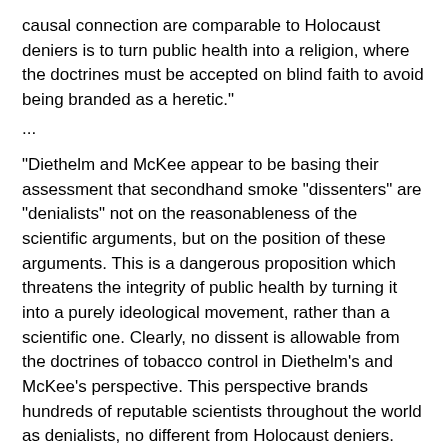causal connection are comparable to Holocaust deniers is to turn public health into a religion, where the doctrines must be accepted on blind faith to avoid being branded as a heretic."
...
"Diethelm and McKee appear to be basing their assessment that secondhand smoke "dissenters" are "denialists" not on the reasonableness of the scientific arguments, but on the position of these arguments. This is a dangerous proposition which threatens the integrity of public health by turning it into a purely ideological movement, rather than a scientific one. Clearly, no dissent is allowable from the doctrines of tobacco control in Diethelm's and McKee's perspective. This perspective brands hundreds of reputable scientists throughout the world as denialists, no different from Holocaust deniers. While I disagree wholeheartedly with these scientists, I will stand up for their right to express their dissenting opinions without having their characters assassinated because of the direction, rather than the scientific reasonableness, of their positions."
The Rest of the Story